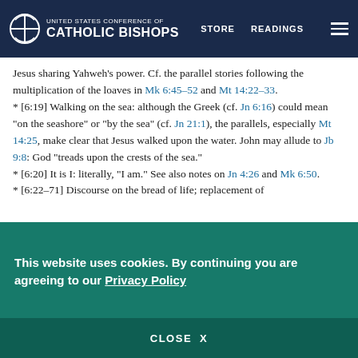UNITED STATES CONFERENCE OF CATHOLIC BISHOPS | STORE  READINGS
Jesus sharing Yahweh’s power. Cf. the parallel stories following the multiplication of the loaves in Mk 6:45–52 and Mt 14:22–33.
* [6:19] Walking on the sea: although the Greek (cf. Jn 6:16) could mean “on the seashore” or “by the sea” (cf. Jn 21:1), the parallels, especially Mt 14:25, make clear that Jesus walked upon the water. John may allude to Jb 9:8: God “treads upon the crests of the sea.”
* [6:20] It is I: literally, “I am.” See also notes on Jn 4:26 and Mk 6:50.
* [6:22–71] Discourse on the bread of life; replacement of
This website uses cookies. By continuing you are agreeing to our Privacy Policy
CLOSE  X